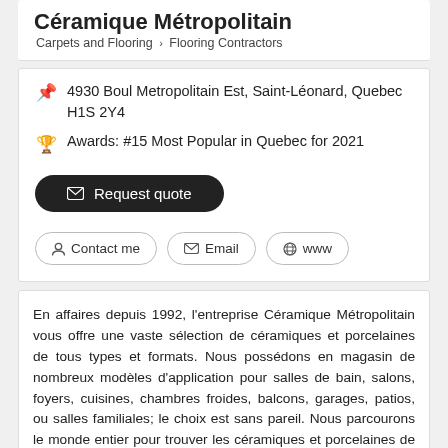Céramique Métropolitain
Carpets and Flooring > Flooring Contractors
4930 Boul Metropolitain Est, Saint-Léonard, Quebec H1S 2Y4
Awards: #15 Most Popular in Quebec for 2021
Request quote
Contact me   Email   www
En affaires depuis 1992, l'entreprise Céramique Métropolitain vous offre une vaste sélection de céramiques et porcelaines de tous types et formats. Nous possédons en magasin de nombreux modèles d'application pour salles de bain, salons, foyers, cuisines, chambres froides, balcons, garages, patios, ou salles familiales; le choix est sans pareil. Nous parcourons le monde entier pour trouver les céramiques et porcelaines de haut de gamme, et ainsi vous offrir des produits de qualité supérieure. Notre... Read more